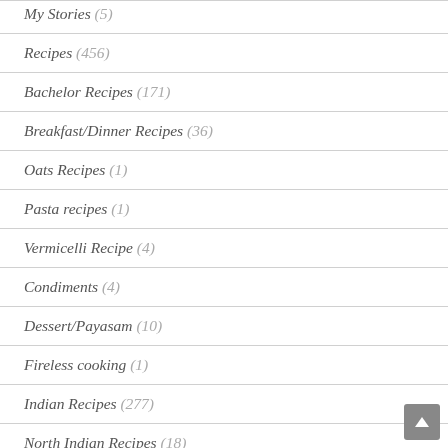My Stories (5)
Recipes (456)
Bachelor Recipes (171)
Breakfast/Dinner Recipes (36)
Oats Recipes (1)
Pasta recipes (1)
Vermicelli Recipe (4)
Condiments (4)
Dessert/Payasam (10)
Fireless cooking (1)
Indian Recipes (277)
North Indian Recipes (18)
South Indian Recipes (209)